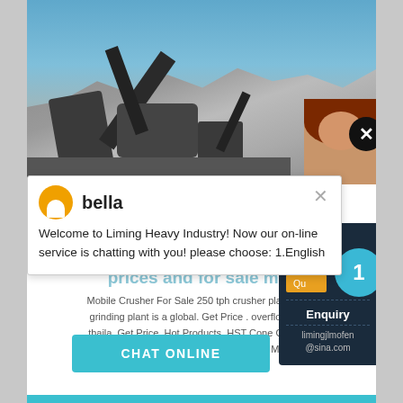[Figure (photo): Mining/quarry scene with heavy machinery and crusher equipment against a blue sky with rocky terrain in the background. A partial image of a person (brown hair) is visible at the top right corner.]
bella
Welcome to Liming Heavy Industry! Now our on-line service is chatting with you! please choose: 1.English
prices and for sale ma...
Mobile Crusher For Sale 250 tph crusher plant iron... grinding plant is a global. Get Price . overflow ball ... thaila. Get Price. Hot Products. HST Cone Crushe... VSI6X Sand Making Machine Read more. MTM Tra...
CHAT ONLINE
Have any requests, click here
Quo...
1
Enquiry
limingjlmofen@sina.com